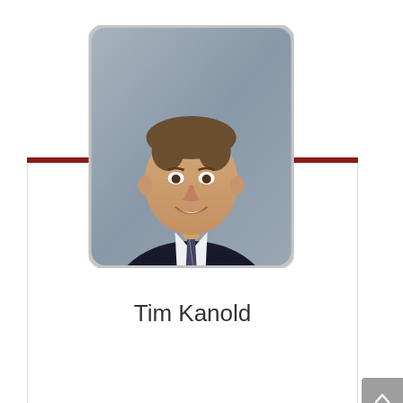[Figure (photo): Headshot photo of Tim Kanold, a smiling middle-aged man in a dark suit and striped tie, with a gray gradient background. Photo displayed in a rounded rectangle frame with a light gray border.]
Tim Kanold
[Figure (photo): Partial headshot of a woman with brown hair, visible from roughly the shoulders up, with a gray gradient background. Photo displayed in a rounded rectangle frame.]